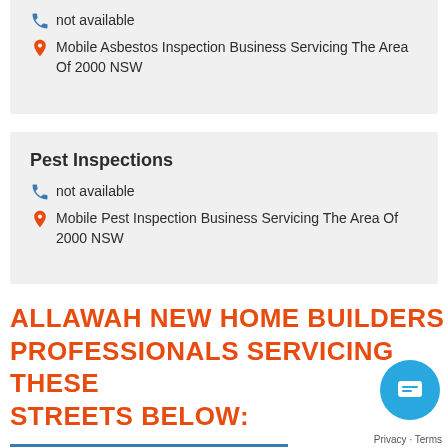not available
Mobile Asbestos Inspection Business Servicing The Area Of 2000 NSW
Pest Inspections
not available
Mobile Pest Inspection Business Servicing The Area Of 2000 NSW
ALLAWAH NEW HOME BUILDERS PROFESSIONALS SERVICING THESE STREETS BELOW: